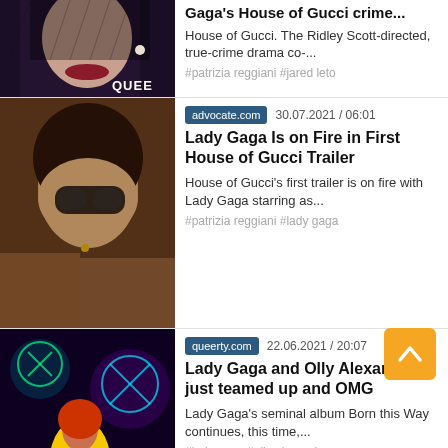[Figure (photo): Partial view of Lady Gaga in black veil with red lips, wearing pearl earring]
Gaga's House of Gucci crime...
House of Gucci. The Ridley Scott-directed, true-crime drama co-...
#patrizia reggiani #jared leto
[Figure (photo): Lady Gaga wearing large dark sunglasses and fur coat]
advocate.com   30.07.2021 / 06:01
Lady Gaga Is on Fire in First House of Gucci Trailer
House of Gucci's first trailer is on fire with Lady Gaga starring as...
#patrizia reggiani #lady gaga
[Figure (photo): Person in yellow outfit performing on stage with neon lights]
queerty.com   22.06.2021 / 20:07
Lady Gaga and Olly Alexander just teamed up and OMG
Lady Gaga's seminal album Born this Way continues, this time,...
#lady gaga #olly alexande
[Figure (photo): Partial view of Lady Gaga with blonde hair]
queerty.com   11.06.2021 / 20:29